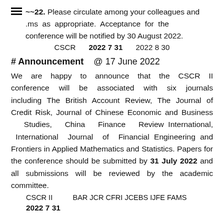2022. Please circulate among your colleagues and ms as appropriate. Acceptance for the conference will be notified by 30 August 2022.
CSCR  2022 7 31  2022 8 30
# Announcement  @ 17 June 2022
We are happy to announce that the CSCR II conference will be associated with six journals including The British Account Review, The Journal of Credit Risk, Journal of Chinese Economic and Business Studies, China Finance Review International, International Journal of Financial Engineering and Frontiers in Applied Mathematics and Statistics. Papers for the conference should be submitted by 31 July 2022 and all submissions will be reviewed by the academic committee.
CSCR II  BAR JCR CFRI JCEBS IJFE FAMS
2022 7 31